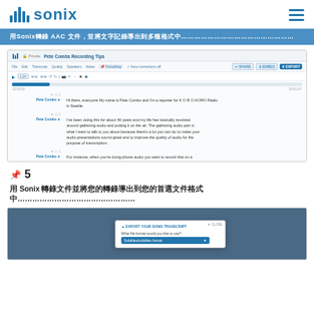Sonix logo and navigation
用Sonix轉錄 AAC 文件，並將文字記錄導出到多種格式中
[Figure (screenshot): Screenshot of Sonix transcription editor showing Pete Combs Recording Tips transcript with toolbar, progress bar, and speaker-labeled transcript segments]
步驟 5
用 Sonix 轉錄文件並將您的轉錄導出到您的首選文件格式中
[Figure (screenshot): Screenshot of Sonix Export Your Sonix Transcript dialog with subtitle/caption format dropdown selected]